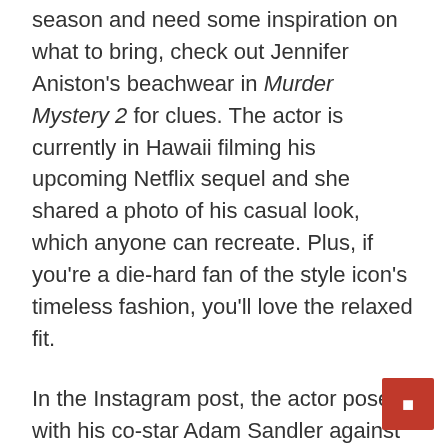season and need some inspiration on what to bring, check out Jennifer Aniston's beachwear in Murder Mystery 2 for clues. The actor is currently in Hawaii filming his upcoming Netflix sequel and she shared a photo of his casual look, which anyone can recreate. Plus, if you're a die-hard fan of the style icon's timeless fashion, you'll love the relaxed fit.
In the Instagram post, the actor posed with his co-star Adam Sandler against the backdrop of the ocean. For the seaside environment, Aniston opted for a breezy beach look, consisting of a floral Fleur Du Mal Haori kimono and a white mini dress. It's unclear if this outfit came from Aniston's own closet or if she still wore her character's costume, but either way it